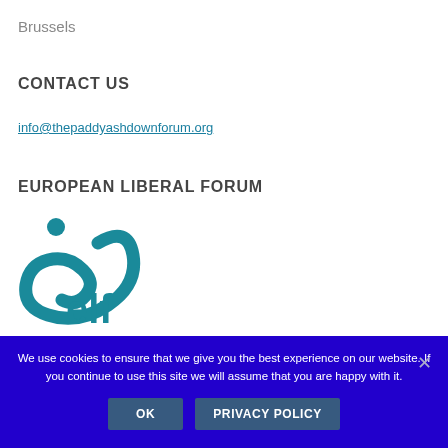Brussels
CONTACT US
info@thepaddyashdownforum.org
EUROPEAN LIBERAL FORUM
[Figure (logo): European Liberal Forum (elf) logo — teal swirl and dot with 'elf' text]
We use cookies to ensure that we give you the best experience on our website. If you continue to use this site we will assume that you are happy with it.